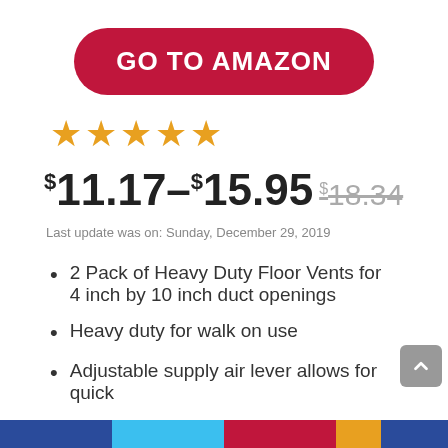[Figure (other): Red rounded button with white bold text GO TO AMAZON]
★★★★★
$11.17–$15.95 $18.34
Last update was on: Sunday, December 29, 2019
2 Pack of Heavy Duty Floor Vents for 4 inch by 10 inch duct openings
Heavy duty for walk on use
Adjustable supply air lever allows for quick